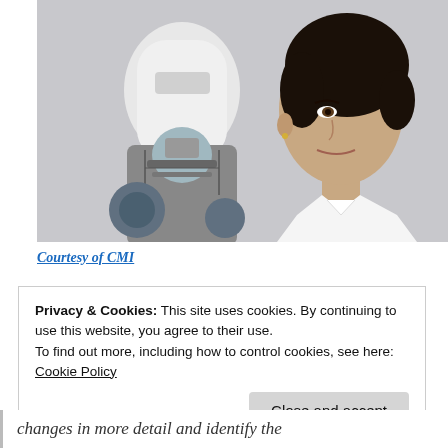[Figure (photo): A humanoid robot with white face and mechanical body facing a human woman in a white shirt, shown in profile view facing each other against a grey background.]
Courtesy of CMI
Privacy & Cookies: This site uses cookies. By continuing to use this website, you agree to their use.
To find out more, including how to control cookies, see here: Cookie Policy
Close and accept
changes in more detail and identify the